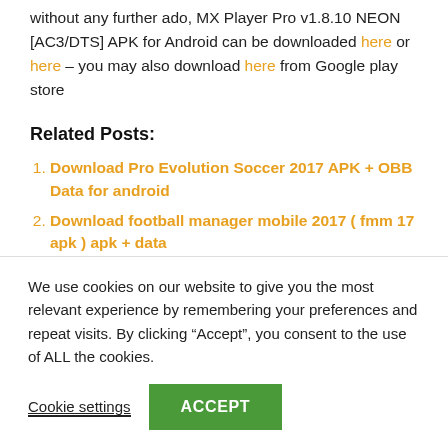without any further ado, MX Player Pro v1.8.10 NEON [AC3/DTS] APK for Android can be downloaded here or here – you may also download here from Google play store
Related Posts:
Download Pro Evolution Soccer 2017 APK + OBB Data for android
Download football manager mobile 2017 ( fmm 17 apk ) apk + data
Download 360 VR Player Pro ( 360 VR Pro APK ) 1.5.19 Cracked
Opera Neon new web browser concept might just be the best afterall
We use cookies on our website to give you the most relevant experience by remembering your preferences and repeat visits. By clicking “Accept”, you consent to the use of ALL the cookies.
Cookie settings   ACCEPT